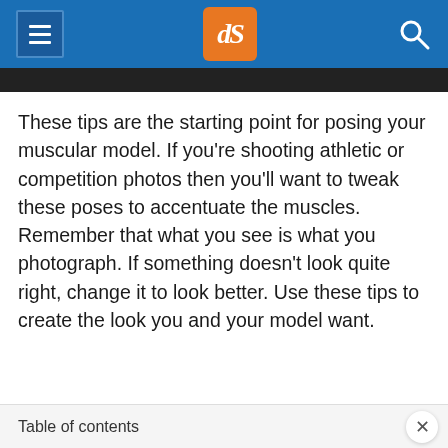dPS navigation header with hamburger menu, dPS logo, and search icon
These tips are the starting point for posing your muscular model. If you’re shooting athletic or competition photos then you’ll want to tweak these poses to accentuate the muscles. Remember that what you see is what you photograph. If something doesn’t look quite right, change it to look better. Use these tips to create the look you and your model want.
Table of contents